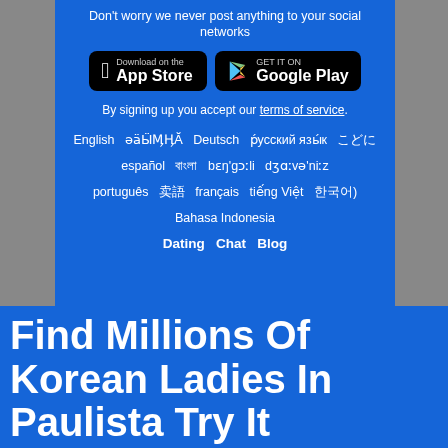Don't worry we never post anything to your social networks
[Figure (screenshot): App Store and Google Play download buttons on a black background]
By signing up you accept our terms of service.
English  ??????  Deutsch  р́усский язы́к  ???  español  ??????  bɛŋ'gɔːli  dʒɑːvə'niːz  português  ???  français  tiếng Việt  ???)  Bahasa Indonesia
Dating  Chat  Blog
Find Millions Of Korean Ladies In Paulista Try It